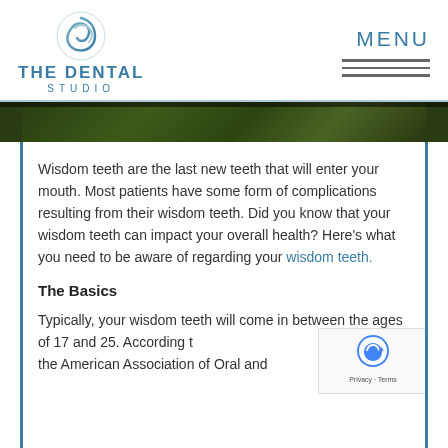[Figure (logo): The Dental Studio logo with wave/shell icon in blue-grey tones]
MENU
[Figure (photo): Partial photo strip showing green leaves/plants in dark setting]
Wisdom teeth are the last new teeth that will enter your mouth. Most patients have some form of complications resulting from their wisdom teeth. Did you know that your wisdom teeth can impact your overall health? Here’s what you need to be aware of regarding your wisdom teeth.
The Basics
Typically, your wisdom teeth will come in between the ages of 17 and 25. According to the American Association of Oral and